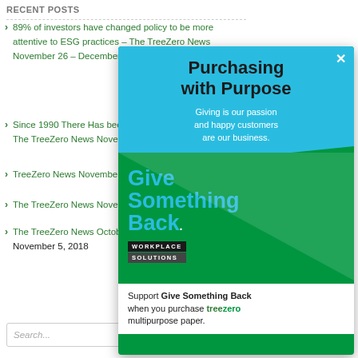RECENT POSTS
89% of investors have changed policy to be more attentive to ESG practices – The TreeZero News November 26 – December 2, 2018 December 3, 2018
Since 1990 There Has been a... The TreeZero News November 1...
TreeZero News November 12-...
The TreeZero News November...
The TreeZero News October ... November 5, 2018
[Figure (infographic): Popup advertisement for 'Purchasing with Purpose' from Give Something Back Workplace Solutions. Blue and green design with text: 'Purchasing with Purpose', 'Giving is our passion and happy customers are our business.', 'Give Something Back WORKPLACE SOLUTIONS', 'Support Give Something Back when you purchase treezero multipurpose paper.']